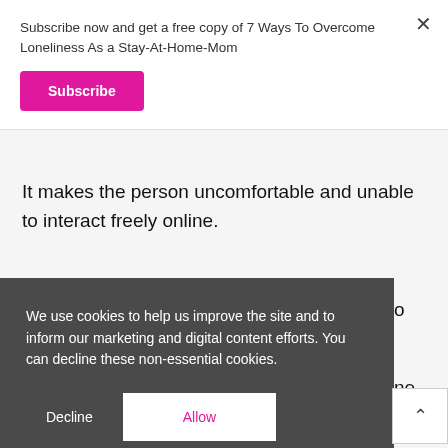Subscribe now and get a free copy of 7 Ways To Overcome Loneliness As a Stay-At-Home-Mom
Subscribe
It makes the person uncomfortable and unable to interact freely online.
We use cookies to help us improve the site and to inform our marketing and digital content efforts. You can decline these non-essential cookies.
Decline
Allow
5. Teach kids to protect their online